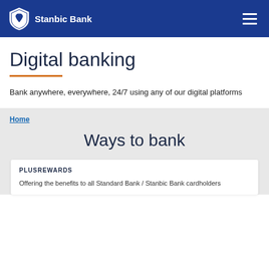Stanbic Bank
Digital banking
Bank anywhere, everywhere, 24/7 using any of our digital platforms
Home
Ways to bank
PLUSREWARDS
Offering the benefits to all Standard Bank / Stanbic Bank cardholders